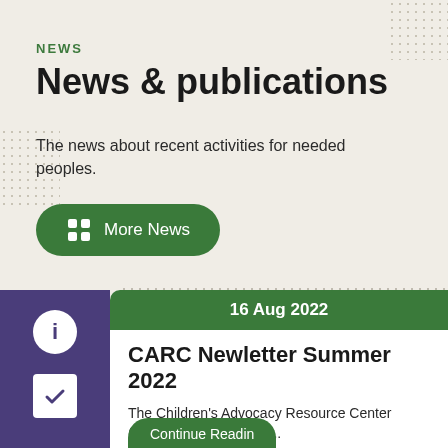NEWS
News & publications
The news about recent activities for needed peoples.
More News
16 Aug 2022
CARC Newletter Summer 2022
The Children's Advocacy Resource Center (CARC) is a statewide...